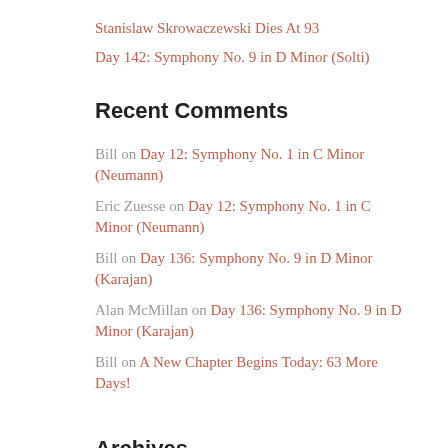Stanislaw Skrowaczewski Dies At 93
Day 142: Symphony No. 9 in D Minor (Solti)
Recent Comments
Bill on Day 12: Symphony No. 1 in C Minor (Neumann)
Eric Zuesse on Day 12: Symphony No. 1 in C Minor (Neumann)
Bill on Day 136: Symphony No. 9 in D Minor (Karajan)
Alan McMillan on Day 136: Symphony No. 9 in D Minor (Karajan)
Bill on A New Chapter Begins Today: 63 More Days!
Archives
February 2017